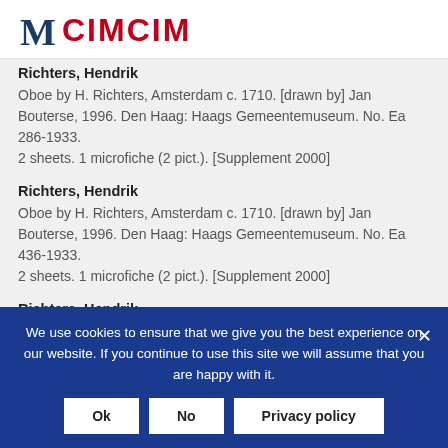[Figure (logo): CIMCIM logo with stylized M in dark blue and CIMCIM in red text]
Richters, Hendrik
Oboe by H. Richters, Amsterdam c. 1710. [drawn by] Jan Bouterse, 1996. Den Haag: Haags Gemeentemuseum. No. Ea 286-1933. 2 sheets. 1 microfiche (2 pict.). [Supplement 2000]
Richters, Hendrik
Oboe by H. Richters, Amsterdam c. 1710. [drawn by] Jan Bouterse, 1996. Den Haag: Haags Gemeentemuseum. No. Ea 436-1933. 2 sheets. 1 microfiche (2 pict.). [Supplement 2000]
Richters, Hendrik
We use cookies to ensure that we give you the best experience on our website. If you continue to use this site we will assume that you are happy with it.